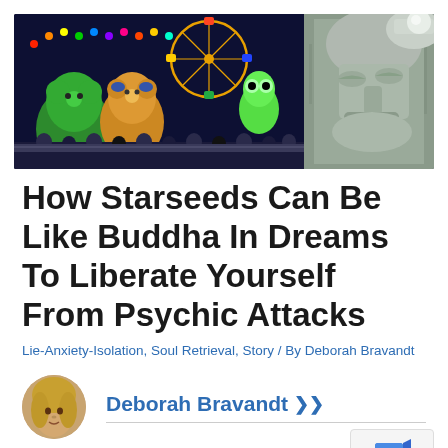[Figure (photo): Composite photo: left side shows a colorful carnival/fair at night with a ferris wheel, illuminated stuffed animal prizes (teddy bears), and crowds; right side shows a close-up of a stone or bronze sculptural face (Buddha or similar).]
How Starseeds Can Be Like Buddha In Dreams To Liberate Yourself From Psychic Attacks
Lie-Anxiety-Isolation, Soul Retrieval, Story / By Deborah Bravandt
[Figure (photo): Circular avatar photo of Deborah Bravandt, a woman with blonde hair.]
Deborah Bravandt ❯❯
[Figure (screenshot): Google privacy/terms badge with upward arrow icon in blue folder shape, and text 'Privacy · Terms'.]